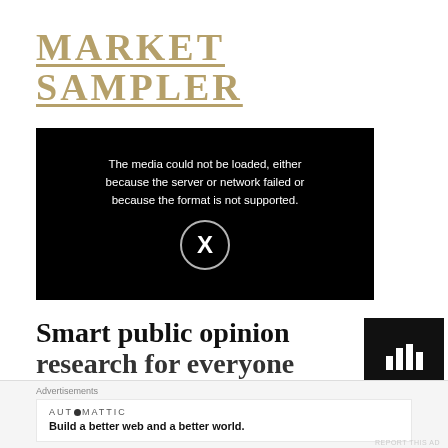MARKET SAMPLER
[Figure (screenshot): Black video player box showing error message: 'The media could not be loaded, either because the server or network failed or because the format is not supported.' with a circular X icon overlay.]
Smart public opinion
research for everyone
[Figure (screenshot): Small black square ad thumbnail with a white bar chart icon]
Advertisements
AUTOMATTIC
Build a better web and a better world.